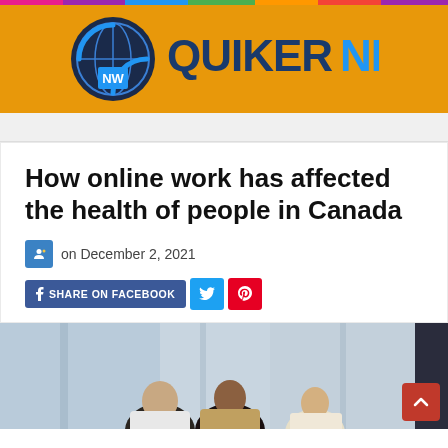[Figure (logo): QuikerNews logo with globe icon and text QUIKERNEWS on orange banner background]
How online work has affected the health of people in Canada
on December 2, 2021
SHARE ON FACEBOOK
[Figure (photo): Group of business people in an office setting, blurred background]